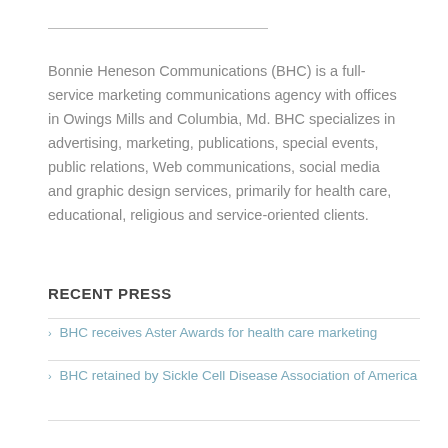Bonnie Heneson Communications (BHC) is a full-service marketing communications agency with offices in Owings Mills and Columbia, Md. BHC specializes in advertising, marketing, publications, special events, public relations, Web communications, social media and graphic design services, primarily for health care, educational, religious and service-oriented clients.
RECENT PRESS
BHC receives Aster Awards for health care marketing
BHC retained by Sickle Cell Disease Association of America